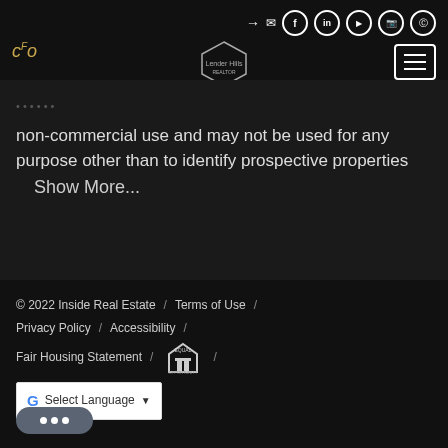[Figure (screenshot): Website header with navigation icons (login, email, Facebook, LinkedIn, YouTube, Instagram, Pinterest), a stylized 'coF' logo in gold on the left, a hexagonal house logo in the center, and a hamburger menu icon on the right, all on a dark background.]
non-commercial use and may not be used for any purpose other than to identify prospective properties  Show More...
© 2022 Inside Real Estate  /  Terms of Use  /  Privacy Policy  /  Accessibility  /  Fair Housing Statement  /  [Equal Housing Opportunity logo]  /  Select Language ▼